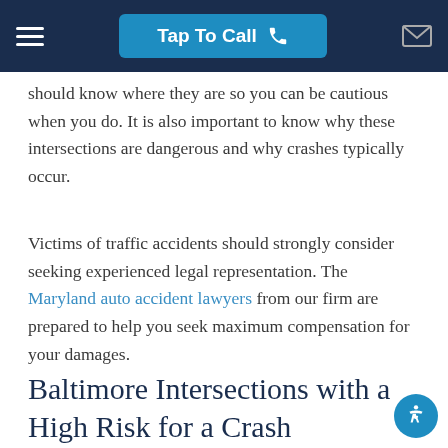Tap To Call
should know where they are so you can be cautious when you do. It is also important to know why these intersections are dangerous and why crashes typically occur.
Victims of traffic accidents should strongly consider seeking experienced legal representation. The Maryland auto accident lawyers from our firm are prepared to help you seek maximum compensation for your damages.
Baltimore Intersections with a High Risk for a Crash